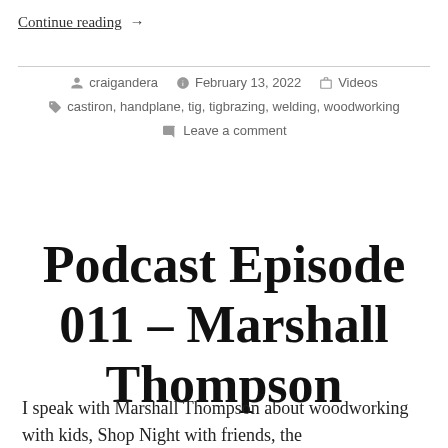Continue reading →
by craigandera  February 13, 2022  Videos  castiron, handplane, tig, tigbrazing, welding, woodworking  Leave a comment
Podcast Episode 011 – Marshall Thompson
I speak with Marshall Thompson about woodworking with kids, Shop Night with friends, the